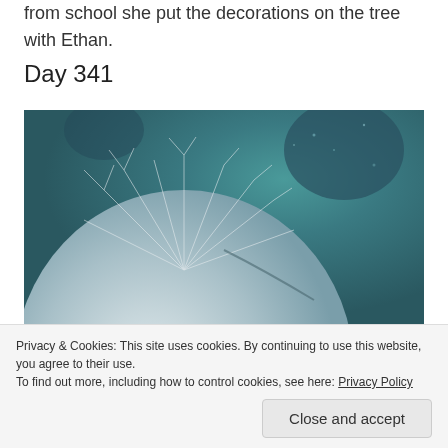from school she put the decorations on the tree with Ethan.
Day 341
[Figure (photo): Close-up photograph of frost or ice crystals forming feathery patterns on a rounded surface, with a dark teal/green background. The frost creates intricate crystalline dendrite patterns across a pale blue-grey icy surface.]
Privacy & Cookies: This site uses cookies. By continuing to use this website, you agree to their use.
To find out more, including how to control cookies, see here: Privacy Policy
Close and accept